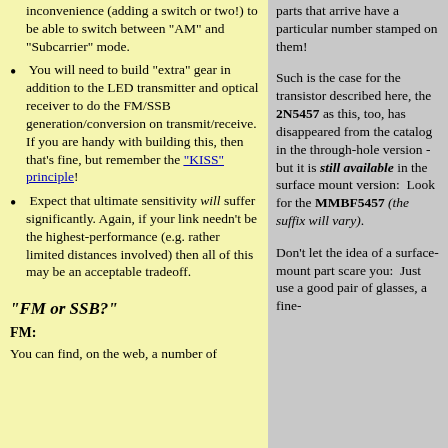inconvenience (adding a switch or two!) to be able to switch between "AM" and "Subcarrier" mode.
You will need to build "extra" gear in addition to the LED transmitter and optical receiver to do the FM/SSB generation/conversion on transmit/receive. If you are handy with building this, then that's fine, but remember the "KISS" principle!
Expect that ultimate sensitivity will suffer significantly. Again, if your link needn't be the highest-performance (e.g. rather limited distances involved) then all of this may be an acceptable tradeoff.
"FM or SSB?"
FM:
You can find, on the web, a number of
parts that arrive have a particular number stamped on them!
Such is the case for the transistor described here, the 2N5457 as this, too, has disappeared from the catalog in the through-hole version - but it is still available in the surface mount version: Look for the MMBF5457 (the suffix will vary).
Don't let the idea of a surface-mount part scare you: Just use a good pair of glasses, a fine-